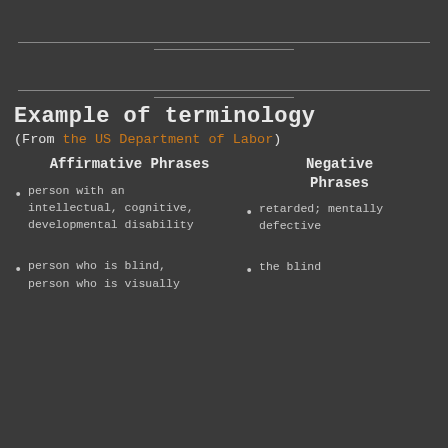Example of terminology
(From the US Department of Labor)
| Affirmative Phrases | Negative Phrases |
| --- | --- |
| person with an intellectual, cognitive, developmental disability | retarded; mentally defective |
| person who is blind, person who is visually | the blind |